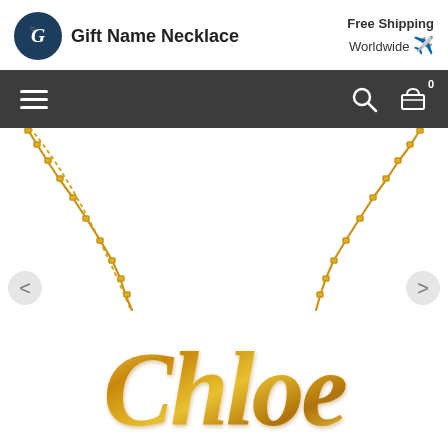[Figure (logo): Gift Name Necklace logo: dark navy circular badge with stylized 'G' letter and small heart, beside text 'Gift Name Necklace']
Free Shipping Worldwide
[Figure (screenshot): Dark navigation bar with hamburger menu icon on left, search icon and shopping cart icon (with 0 badge) on right]
[Figure (photo): Gold name necklace spelling 'Chloe' in cursive script on a gold box chain, shown against white background. Left and right carousel navigation arrows visible.]